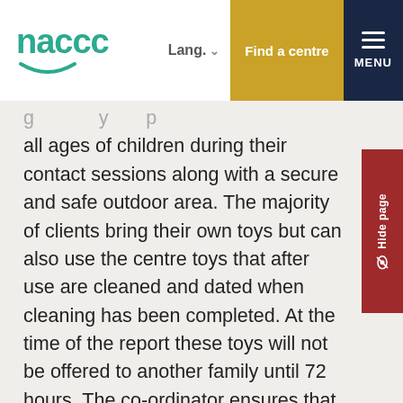naccc | Lang. | Find a centre | MENU
all ages of children during their contact sessions along with a secure and safe outdoor area. The majority of clients bring their own toys but can also use the centre toys that after use are cleaned and dated when cleaning has been completed. At the time of the report these toys will not be offered to another family until 72 hours. The co-ordinator ensures that workers are allocated to families with two named workers for consistency. The centre will provide, if required an interpreter for